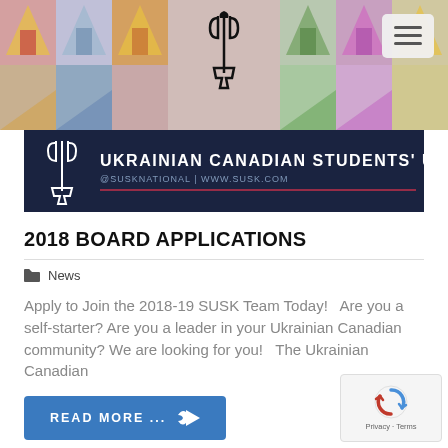[Figure (illustration): Colorful Ukrainian folk-pattern banner header with geometric shapes in red, yellow, blue, green and grey tiles. A black stylized trident logo centered at top. Navigation hamburger menu icon top right.]
[Figure (logo): Ukrainian Canadian Students' Union dark navy banner with white SUSK trident logo on left, bold white text UKRAINIAN CANADIAN STUDENTS' UNION, subtitle @SUSKNATIONAL | WWW.SUSK.COM, red horizontal rule below subtitle.]
2018 BOARD APPLICATIONS
News
Apply to Join the 2018-19 SUSK Team Today!   Are you a self-starter? Are you a leader in your Ukrainian Canadian community? We are looking for you!   The Ukrainian Canadian
[Figure (other): Blue READ MORE ... button with arrow icon]